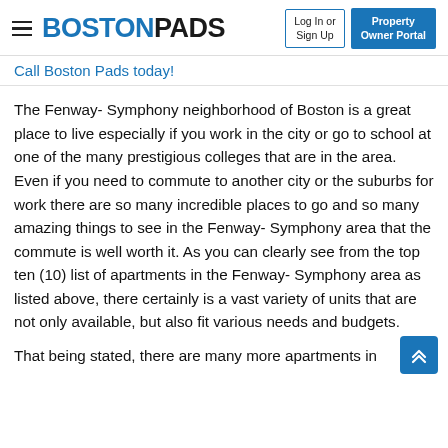BOSTON PADS | Log In or Sign Up | Property Owner Portal
Call Boston Pads today!
The Fenway- Symphony neighborhood of Boston is a great place to live especially if you work in the city or go to school at one of the many prestigious colleges that are in the area. Even if you need to commute to another city or the suburbs for work there are so many incredible places to go and so many amazing things to see in the Fenway- Symphony area that the commute is well worth it. As you can clearly see from the top ten (10) list of apartments in the Fenway- Symphony area as listed above, there certainly is a vast variety of units that are not only available, but also fit various needs and budgets.
That being stated, there are many more apartments in